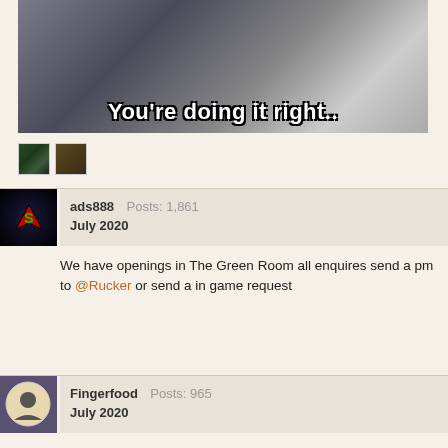[Figure (photo): A person crouching on a tiled floor with text overlay reading 'You're doing it right..']
[Figure (photo): Two small avatar thumbnail images]
ads888   Posts: 1,861
July 2020

We have openings in The Green Room all enquires send a pm to @Rucker or send a in game request
Fingerfood   Posts: 965
July 2020